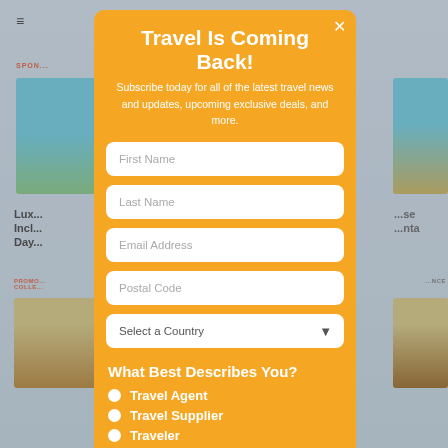[Figure (screenshot): Background of a travel website with sponsored content, beach images, article titles, and promotional labels]
Travel Is Coming Back!
Subscribe today for all of the latest travel news and updates, upcoming exclusive deals, and more.
First Name
Last Name
Email Address
Postal Code
Select a Country
What Best Describes You?
Travel Agent
Travel Supplier
Traveler